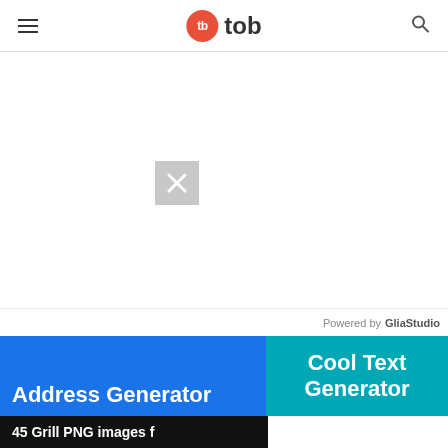tb tob
[Figure (screenshot): Broken image placeholder icon (gray square with X) in the center of a white content area]
Powered by GliaStudio
Address Generator
Cool Text Generator
45 Grill PNG images f